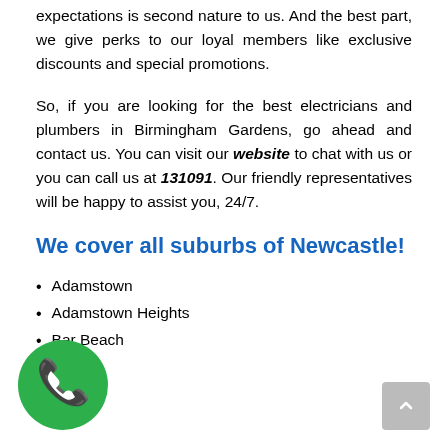expectations is second nature to us. And the best part, we give perks to our loyal members like exclusive discounts and special promotions.
So, if you are looking for the best electricians and plumbers in Birmingham Gardens, go ahead and contact us. You can visit our website to chat with us or you can call us at 131091. Our friendly representatives will be happy to assist you, 24/7.
We cover all suburbs of Newcastle!
Adamstown
Adamstown Heights
Bar Beach
[Figure (illustration): Green circular phone/call icon button in the bottom left corner of the page]
[Figure (illustration): Gray scroll-to-top button in the bottom right corner of the page]